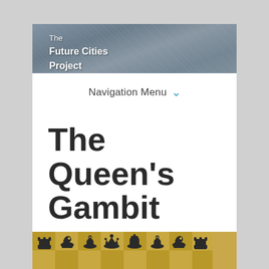The Future Cities Project
Navigation Menu
The Queen's Gambit
Netflix, created by Scott Frank, Allan Scott.
Reviewed by Theo Dounas
[Figure (photo): A row of chess pieces on a checkered board, showing rook, knight, bishop, queen, king, bishop, knight, rook in chess piece icon style on a tan/gold chess board background]